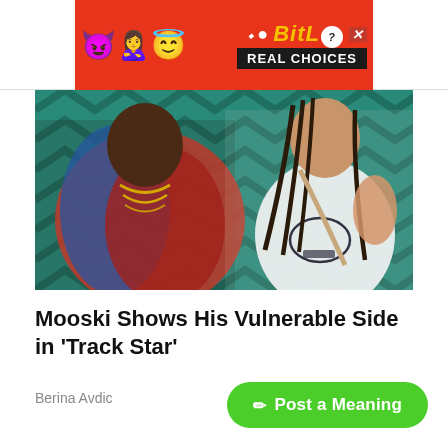[Figure (advertisement): BitLife mobile game advertisement with red background, devil and angel emojis, BitLife logo in yellow italic text, and 'REAL CHOICES' text on black banner]
[Figure (photo): Photo of two people, one in a red and blue jacket with gold chains, another in a white graphic top with braided hair, against a teal patterned background]
Mooski Shows His Vulnerable Side in 'Track Star'
Berina Avdic
1 year ago
✏ Post a Meaning